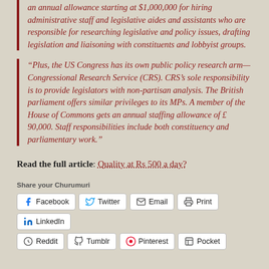an annual allowance starting at $1,000,000 for hiring administrative staff and legislative aides and assistants who are responsible for researching legislative and policy issues, drafting legislation and liaisoning with constituents and lobbyist groups.
“Plus, the US Congress has its own public policy research arm—Congressional Research Service (CRS). CRS’s sole responsibility is to provide legislators with non-partisan analysis. The British parliament offers similar privileges to its MPs. A member of the House of Commons gets an annual staffing allowance of £ 90,000. Staff responsibilities include both constituency and parliamentary work.”
Read the full article: Quality at Rs 500 a day?
Share your Churumuri
Facebook | Twitter | Email | Print | LinkedIn